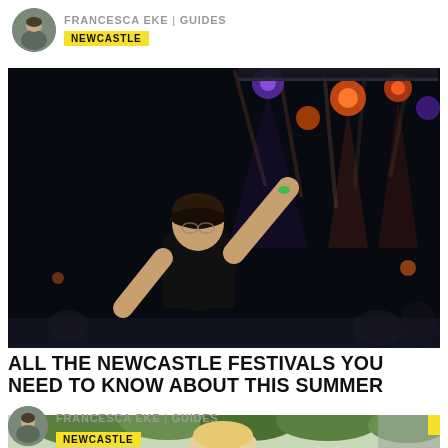[Figure (photo): Circular avatar photo of Francesca Eke, a woman with dark hair]
FRANCESCA EKE | GUIDES
NEWCASTLE
[Figure (photo): Night festival photo of a woman in a black t-shirt with arms raised, stage lights and rigging in the background]
ALL THE NEWCASTLE FESTIVALS YOU NEED TO KNOW ABOUT THIS SUMMER
[Figure (photo): Circular avatar photo of Francesca Eke]
FRANCESCA EKE | GUIDES
NEWCASTLE
[Figure (photo): Partial bottom image showing a blonde woman outdoors with trees in background]